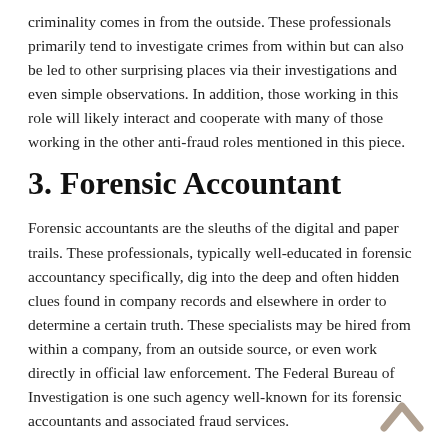criminality comes in from the outside. These professionals primarily tend to investigate crimes from within but can also be led to other surprising places via their investigations and even simple observations. In addition, those working in this role will likely interact and cooperate with many of those working in the other anti-fraud roles mentioned in this piece.
3. Forensic Accountant
Forensic accountants are the sleuths of the digital and paper trails. These professionals, typically well-educated in forensic accountancy specifically, dig into the deep and often hidden clues found in company records and elsewhere in order to determine a certain truth. These specialists may be hired from within a company, from an outside source, or even work directly in official law enforcement. The Federal Bureau of Investigation is one such agency well-known for its forensic accountants and associated fraud services.